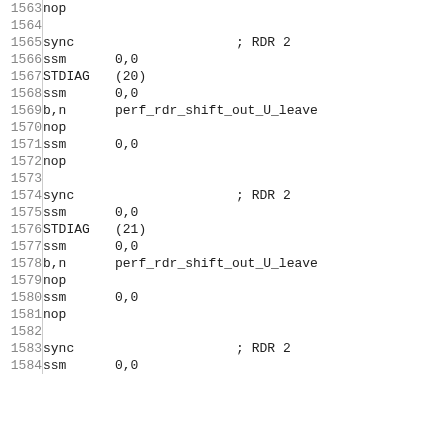1563  nop
1564
1565  sync  ; RDR 2
1566  ssm  0,0
1567  STDIAG  (20)
1568  ssm  0,0
1569  b,n  perf_rdr_shift_out_U_leave
1570  nop
1571  ssm  0,0
1572  nop
1573
1574  sync  ; RDR 2
1575  ssm  0,0
1576  STDIAG  (21)
1577  ssm  0,0
1578  b,n  perf_rdr_shift_out_U_leave
1579  nop
1580  ssm  0,0
1581  nop
1582
1583  sync  ; RDR 2
1584  ssm  0,0